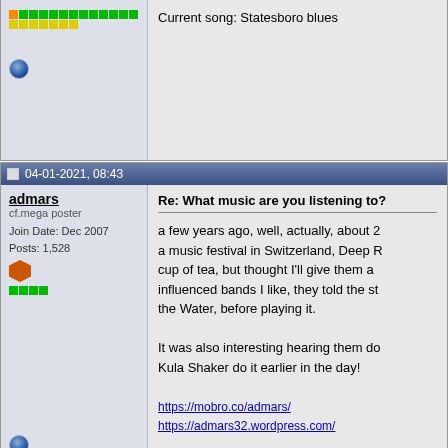Current song: Statesboro blues
04-01-2021, 08:43
admars
cf.mega poster
Join Date: Dec 2007
Posts: 1,528
Re: What music are you listening to?
a few years ago, well, actually, about 2... a music festival in Switzerland, Deep R... cup of tea, but thought I'll give them a... influenced bands I like, they told the st... the Water, before playing it.

It was also interesting hearing them do... Kula Shaker do it earlier in the day!

https://mobro.co/admars/
https://admars32.wordpress.com/
22-01-2021, 11:46
admars
cf.mega poster
Join Date: Dec 2007
Posts: 1,528
Re: What music are you listening to?
New Bicep album came out today - Isl... https://open.spotify.com/album/0EdtT...

is pretty good so far if you fancy some... electronica dance staff, sort of reminds...